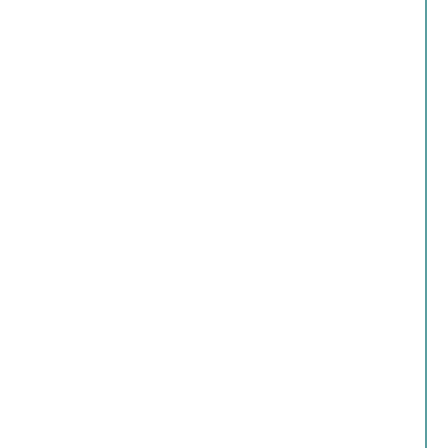| Artist | Song |
| --- | --- |
| Doris Day | An... |
| Doris Day | Yo... |
| Doris Day | Yo... |
| Otis Day And The Nights | Sh... |
| Taylor Dayne | Ca... |
| Taylor Dayne | D... |
| Taylor Dayne | H... |
| Taylor Dayne | I'l... |
| Taylor Dayne | I'l... |
| Taylor Dayne | Lo... |
| Taylor Dayne | N... |
| Taylor Dayne | Pr... |
| Taylor Dayne | Se... |
| Taylor Dayne | Te... |
| Taylor Dayne | W... |
| Taylor Dayne | W... |
| Daze | Su... |
| Db Boulevard | Po... |
| DC Talk | Co... |
| DC Talk | Fr... |
| DC Talk | Je... |
| Dc Talk | M... |
| Dc Talk | Sa... |
| Dc Talk | Su... |
| Paula De Anda feat. Baby Bash | D... |
| Lex De Azevedo | Th... |
| Chris De Burgh | A... |